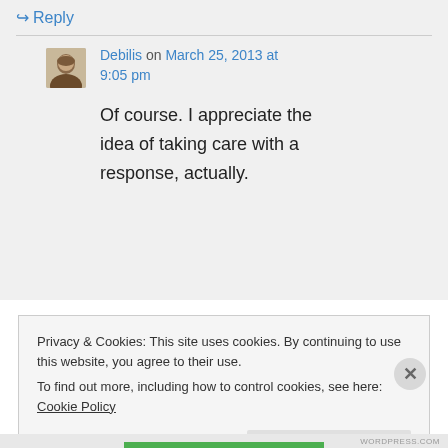↪ Reply
Debilis on March 25, 2013 at 9:05 pm
Of course. I appreciate the idea of taking care with a response, actually.
Privacy & Cookies: This site uses cookies. By continuing to use this website, you agree to their use.
To find out more, including how to control cookies, see here: Cookie Policy
Close and accept